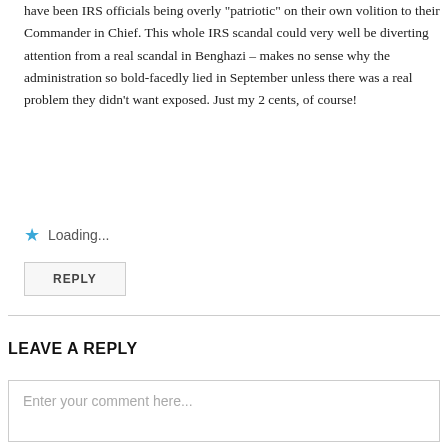have been IRS officials being overly "patriotic" on their own volition to their Commander in Chief. This whole IRS scandal could very well be diverting attention from a real scandal in Benghazi – makes no sense why the administration so bold-facedly lied in September unless there was a real problem they didn't want exposed. Just my 2 cents, of course!
Loading...
REPLY
LEAVE A REPLY
Enter your comment here...